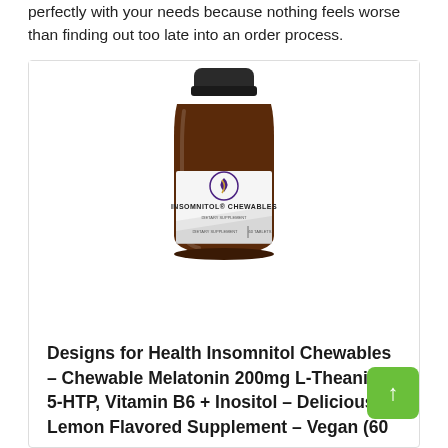perfectly with your needs because nothing feels worse than finding out too late into an order process.
[Figure (photo): Designs for Health Insomnitol Chewables supplement bottle - brown glass bottle with black cap and white label showing logo and product name]
Designs for Health Insomnitol Chewables – Chewable Melatonin 200mg L-Theanine, 5-HTP, Vitamin B6 + Inositol – Delicious Lemon Flavored Supplement – Vegan (60